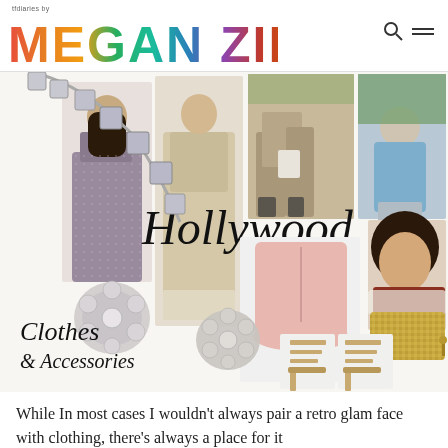tfdiaries by MEGAN ZIETZ
[Figure (photo): Fashion collage for 'Hollywood Clothes & Accessories' featuring: crystal statement necklace top-left, woman in sparkly gown, feather-trimmed beige gown, two candid street-style photos top-right, woman in blue cardigan, Elizabeth Taylor vintage portrait, pink long-sleeve peplum top, gold sequined clutch bag, crystal cluster earrings/brooches, gold strappy heeled sandals (two pairs). Text overlays: 'Hollywood' in large italic script, 'Clothes & Accessories' in italic script bottom-left.]
While In most cases I wouldn't always pair a retro glam face with clothing, there's always a place for it